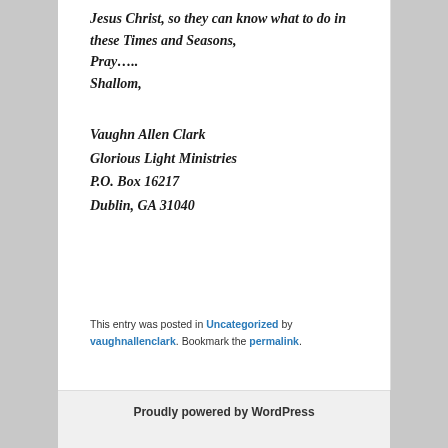Jesus Christ, so they can know what to do in these Times and Seasons,
Pray…..
Shallom,
Vaughn Allen Clark
Glorious Light Ministries
P.O. Box 16217
Dublin, GA 31040
This entry was posted in Uncategorized by vaughnallenclark. Bookmark the permalink.
Proudly powered by WordPress